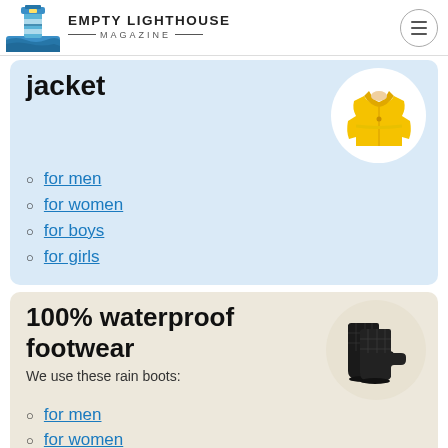EMPTY LIGHTHOUSE MAGAZINE
jacket
for men
for women
for boys
for girls
[Figure (photo): Yellow rain jacket on circular white background]
100% waterproof footwear
We use these rain boots:
for men
for women
for kids
[Figure (photo): Black quilted rain boots on circular beige background]